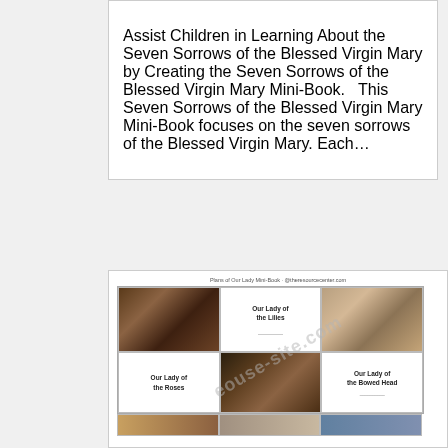Assist Children in Learning About the Seven Sorrows of the Blessed Virgin Mary by Creating the Seven Sorrows of the Blessed Virgin Mary Mini-Book.   This Seven Sorrows of the Blessed Virgin Mary Mini-Book focuses on the seven sorrows of the Blessed Virgin Mary. Each…
[Figure (illustration): A mini-book layout showing images of the Blessed Virgin Mary arranged in a grid with text labels: 'Our Lady of the Lilies', 'Our Lady of the Roses', 'Our Lady of the Bowed Head'. A watermark overlay is visible on the image.]